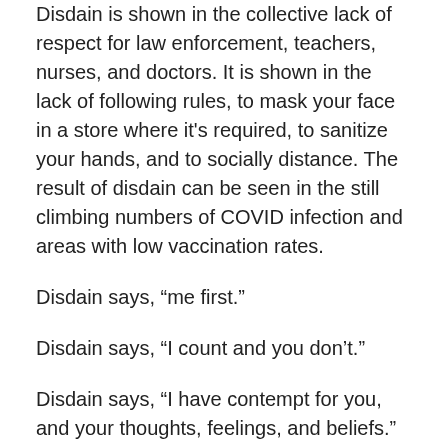Disdain is shown in the collective lack of respect for law enforcement, teachers, nurses, and doctors. It is shown in the lack of following rules, to mask your face in a store where it’s required, to sanitize your hands, and to socially distance. The result of disdain can be seen in the still climbing numbers of COVID infection and areas with low vaccination rates.
Disdain says, “me first.”
Disdain says, “I count and you don’t.”
Disdain says, “I have contempt for you, and your thoughts, feelings, and beliefs.”
I do not know where, when, or how disdain for other humans – truly people like us, with thoughts, feelings, and value systems started. I do think that the 24/7